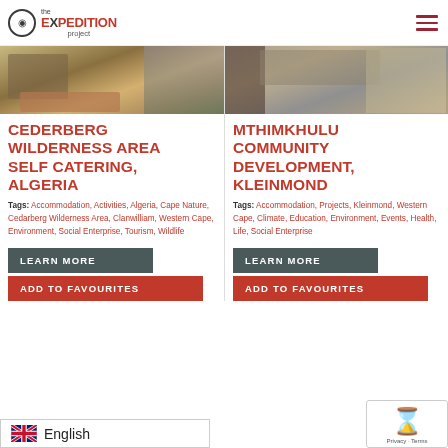the EXPEDITION project
[Figure (photo): Cederberg wilderness area photo showing stone building with purple flowering trees and mountains in background]
[Figure (photo): Mthimkhulu Community Development photo showing stone wall entrance sign for Village Centre]
CEDERBERG WILDERNESS AREA SELF CATERING, ALGERIA
MTHIMKHULU COMMUNITY DEVELOPMENT, KLEINMOND
Tags: Accommodation, Activities, Algeria, Cape Nature, Cedarberg Wilderness Area, Clanwilliam, Western Cape, Environment, Social Enterprise, Tourism, Wildlife
Tags: Accommodation, Projects, Kleinmond, Western Cape, Climate, Education, Environment, Events, Health, Life, Social Enterprise
LEARN MORE
ADD TO FAVOURITES
LEARN MORE
ADD TO FAVOURITES
English